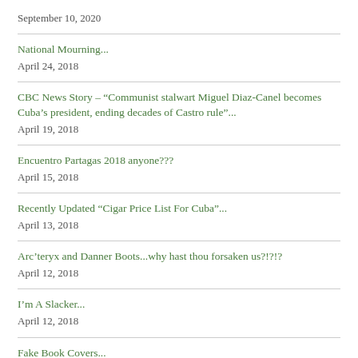September 10, 2020
National Mourning...
April 24, 2018
CBC News Story – “Communist stalwart Miguel Diaz-Canel becomes Cuba’s president, ending decades of Castro rule”...
April 19, 2018
Encuentro Partagas 2018 anyone???
April 15, 2018
Recently Updated “Cigar Price List For Cuba”...
April 13, 2018
Arc’teryx and Danner Boots...why hast thou forsaken us?!?!?
April 12, 2018
I’m A Slacker...
April 12, 2018
Fake Book Covers...
June 23, 2017
“You Are Not A Leader” – RCMP Cpl to Commissioner...